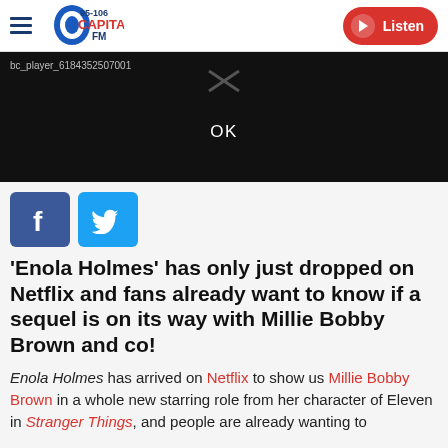Capital FM 95-106 | Listen
[Figure (screenshot): Black video player area with text 'bc_player_6184352507001' in top-left, an X icon at top-center, and 'OK' text in the center]
[Figure (other): Facebook and Twitter social share buttons]
'Enola Holmes' has only just dropped on Netflix and fans already want to know if a sequel is on its way with Millie Bobby Brown and co!
Enola Holmes has arrived on Netflix to show us Millie Bobby Brown in a whole new starring role from her character of Eleven in Stranger Things, and people are already wanting to